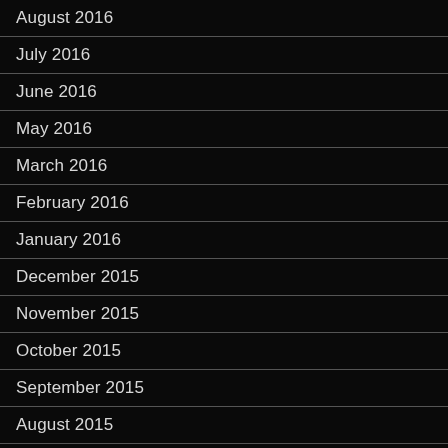August 2016
July 2016
June 2016
May 2016
March 2016
February 2016
January 2016
December 2015
November 2015
October 2015
September 2015
August 2015
July 2015